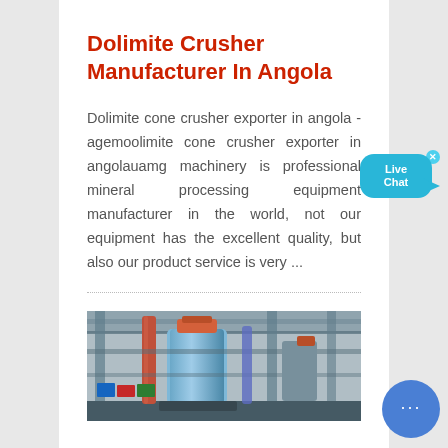Dolimite Crusher Manufacturer In Angola
Dolimite cone crusher exporter in angola - agemoolimite cone crusher exporter in angolauamg machinery is professional mineral processing equipment manufacturer in the world, not our equipment has the excellent quality, but also our product service is very ...
[Figure (photo): Industrial machinery/crusher equipment inside a large manufacturing facility or warehouse, showing large cylindrical machines, metal piping, and steel structural framework.]